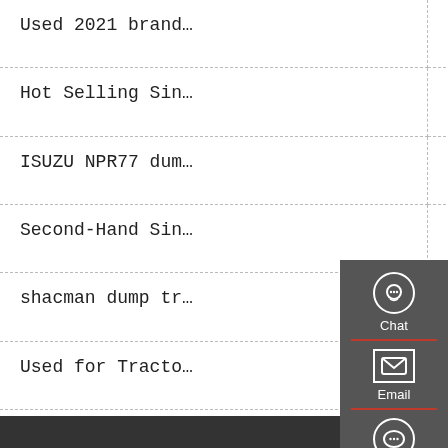Used 2021 brand…
1999 Ford F450 …
Hot Selling Sin…
poly liner - Du…
ISUZU NPR77 dum…
China Hot Sale
Second-Hand Sin…
Sterling S A Du…
shacman dump tr…
handHow much ca…
Used for Tracto…
Second-Hand HOw…
[Figure (infographic): Sidebar floating widget with Chat (headset icon), Email (envelope icon), Contact (speech bubble icon), and Top (up arrow) sections separated by red dividers on dark gray background]